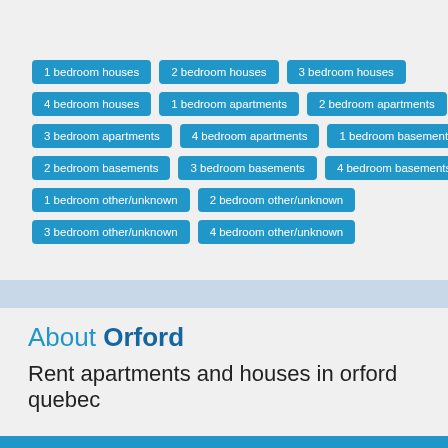1 bedroom houses
2 bedroom houses
3 bedroom houses
4 bedroom houses
1 bedroom apartments
2 bedroom apartments
3 bedroom apartments
4 bedroom apartments
1 bedroom basements
2 bedroom basements
3 bedroom basements
4 bedroom basements
1 bedroom other/unknown
2 bedroom other/unknown
3 bedroom other/unknown
4 bedroom other/unknown
About Orford
Rent apartments and houses in orford quebec